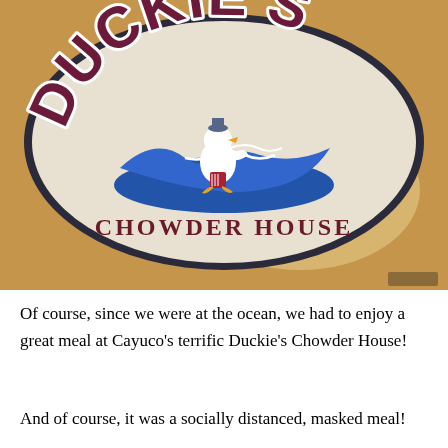[Figure (photo): Photo of Duckie's Chowder House logo sign — an oval sign with a dark navy border on a tan/golden background. Inside the oval, the text 'DUCKIE'S' arches across the top in large maroon bold collegiate letters with white outline. Below that is an illustration of a cartoon duck surfing a blue wave, wearing American flag board shorts. Beneath the illustration, 'CHOWDER HOUSE' is printed in maroon serif capital letters.]
Of course, since we were at the ocean, we had to enjoy a great meal at Cayuco's terrific Duckie's Chowder House!
And of course, it was a socially distanced, masked meal!